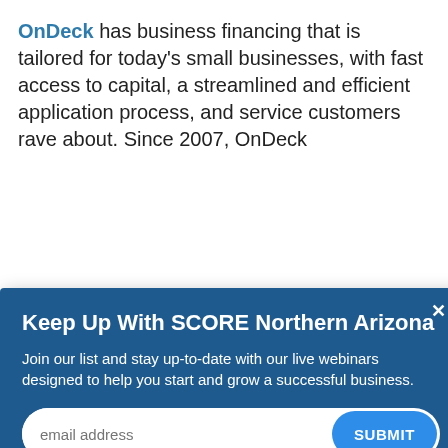OnDeck has business financing that is tailored for today's small businesses, with fast access to capital, a streamlined and efficient application process, and service customers rave about. Since 2007, OnDeck
[Figure (screenshot): Modal dialog: 'Keep Up With SCORE Northern Arizona' — Join our list and stay up-to-date with our live webinars designed to help you start and grow a successful business. Email address input and SUBMIT button. Blue background, white text, close X button.]
More from OnDeck